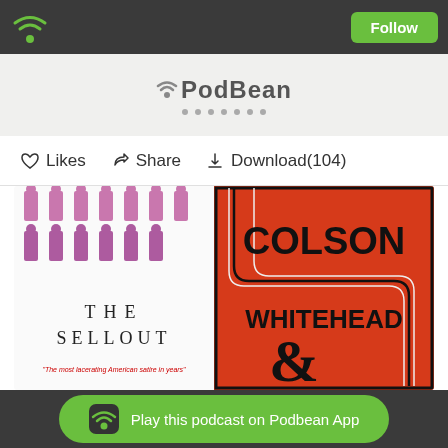[Figure (screenshot): Podbean podcast app UI showing top navigation bar with wifi icon and Follow button]
[Figure (logo): PodBean logo with dots below]
Likes  Share  Download(104)
[Figure (photo): Two book covers side by side: 'The Sellout' on the left (white background with figures) and 'Colson Whitehead' on the right (red cover with maze-like design and ampersand)]
Play this podcast on Podbean App